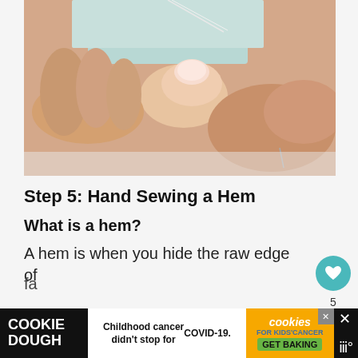[Figure (photo): Close-up photo of hands holding and working with light blue fabric and thread, demonstrating hand sewing technique]
Step 5: Hand Sewing a Hem
What is a hem?
A hem is when you hide the raw edge of fa... is
[Figure (other): Advertisement banner: Cookie Dough brand ad with text 'Childhood cancer didn't stop for COVID-19.' and Cookies for Kids Cancer 'GET BAKING' CTA]